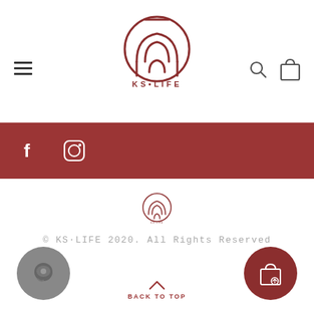[Figure (logo): KS·LIFE Premium Home Essentials logo - circular emblem with house/K shape in dark red, with brand name KS·LIFE and tagline PREMIUM HOME ESSENTIALS below]
[Figure (other): Dark red horizontal social media bar with Facebook and Instagram icons in white]
[Figure (logo): Small KS·LIFE logo centered in footer area]
© KS·LIFE 2020. All Rights Reserved
[Figure (other): Grey circular chat button at bottom left, chevron up Back To Top button in center, dark red circular shopping bag button at bottom right]